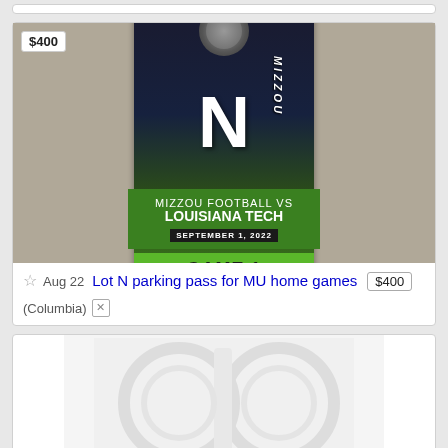[Figure (photo): Mizzou football parking pass for Lot N, showing ticket for Louisiana Tech game, Game 1, on green background]
$400
Aug 22  Lot N parking pass for MU home games  $400
(Columbia)
[Figure (photo): Partial view of a second listing showing a white/light embossed image, partially visible at bottom of page]